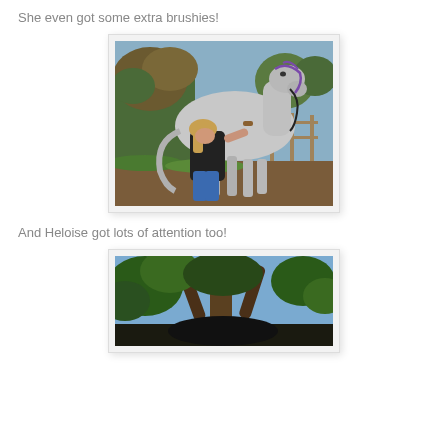She even got some extra brushies!
[Figure (photo): A woman with blonde hair wearing a black jacket brushing a large grey horse outdoors near a fence and trees]
And Heloise got lots of attention too!
[Figure (photo): Partial view of a horse under trees with a blue sky, trees with green leaves visible]